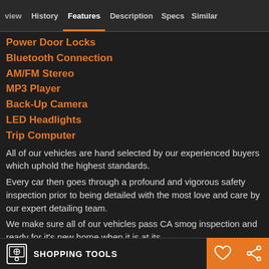view | History | Features | Description | Specs | Similar
Power Door Locks
Bluetooth Connection
AM/FM Stereo
MP3 Player
Back-Up Camera
LED Headlights
Trip Computer
All of our vehicles are hand selected by our experienced buyers which uphold the highest standards.
Every car then goes through a profound and vigorous safety inspection prior to being detailed with the most love and care by our expert detailing team.
We make sure all of our vehicles pass CA smog inspection and ready for it's new home when it is at its
SHOPPING TOOLS